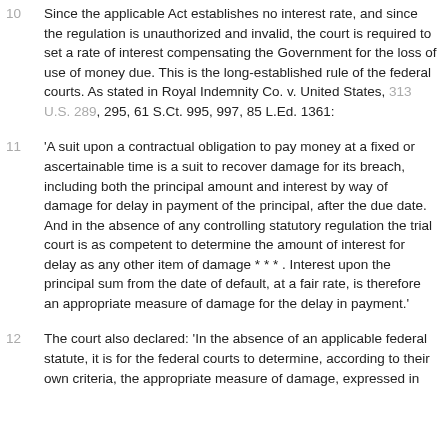10 Since the applicable Act establishes no interest rate, and since the regulation is unauthorized and invalid, the court is required to set a rate of interest compensating the Government for the loss of use of money due. This is the long-established rule of the federal courts. As stated in Royal Indemnity Co. v. United States, 313 U.S. 289, 295, 61 S.Ct. 995, 997, 85 L.Ed. 1361:
11 'A suit upon a contractual obligation to pay money at a fixed or ascertainable time is a suit to recover damage for its breach, including both the principal amount and interest by way of damage for delay in payment of the principal, after the due date. And in the absence of any controlling statutory regulation the trial court is as competent to determine the amount of interest for delay as any other item of damage * * * . Interest upon the principal sum from the date of default, at a fair rate, is therefore an appropriate measure of damage for the delay in payment.'
12 The court also declared: 'In the absence of an applicable federal statute, it is for the federal courts to determine, according to their own criteria, the appropriate measure of damage, expressed in